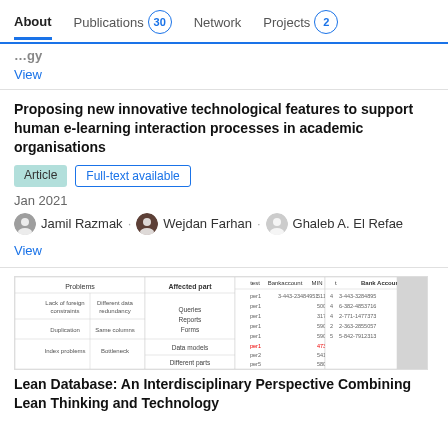About  Publications 30  Network  Projects 2
View
Proposing new innovative technological features to support human e-learning interaction processes in academic organisations
Article   Full-text available
Jan 2021
Jamil Razmak · Wejdan Farhan · Ghaleb A. El Refae
View
[Figure (table-as-image): Thumbnail image of a table showing database-related content with columns for Affected part, Bank Account numbers, and other data fields]
Lean Database: An Interdisciplinary Perspective Combining Lean Thinking and Technology